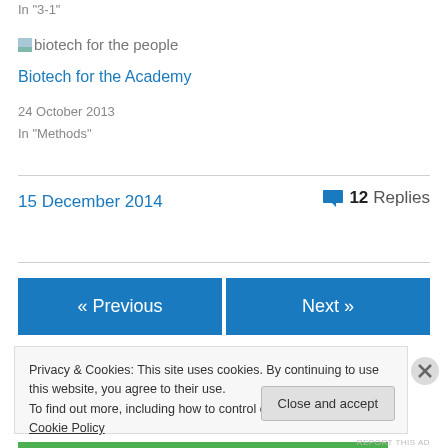In "3-1"
[Figure (illustration): Small thumbnail image placeholder for blog post about biotech for the people]
biotech for the people
Biotech for the Academy
24 October 2013
In "Methods"
15 December 2014
💬 12 Replies
« Previous
Next »
Privacy & Cookies: This site uses cookies. By continuing to use this website, you agree to their use.
To find out more, including how to control cookies, see here: Cookie Policy
Close and accept